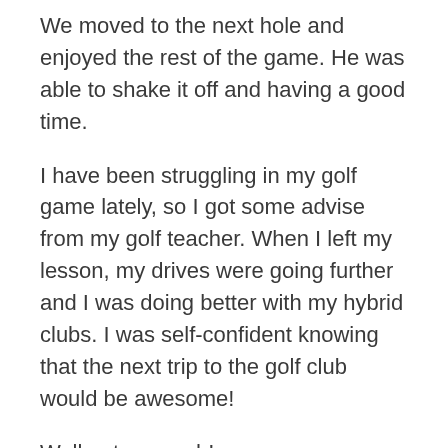We moved to the next hole and enjoyed the rest of the game. He was able to shake it off and having a good time.
I have been struggling in my golf game lately, so I got some advise from my golf teacher. When I left my lesson, my drives were going further and I was doing better with my hybrid clubs. I was self-confident knowing that the next trip to the golf club would be awesome!
Well not so much!
It's like the driving range. You warm up and all is great...you are feeling pretty good about the day until you drive the